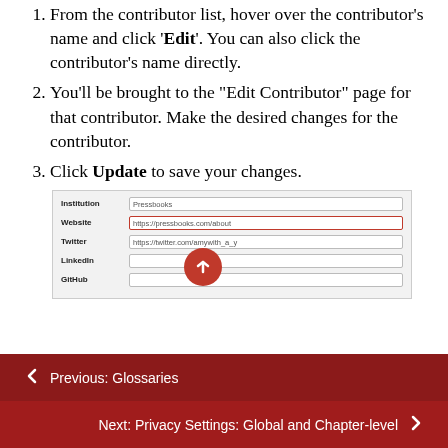From the contributor list, hover over the contributor's name and click 'Edit'. You can also click the contributor's name directly.
You'll be brought to the "Edit Contributor" page for that contributor. Make the desired changes for the contributor.
Click Update to save your changes.
[Figure (screenshot): Screenshot of an Edit Contributor form showing fields: Institution (Pressbooks), Website (https://pressbooks.com/about, highlighted in red), Twitter (https://twitter.com/amywith_a_y), LinkedIn (empty), GitHub (empty). A red circular upload/back-to-top button overlays the form.]
← Previous: Glossaries
Next: Privacy Settings: Global and Chapter-level →